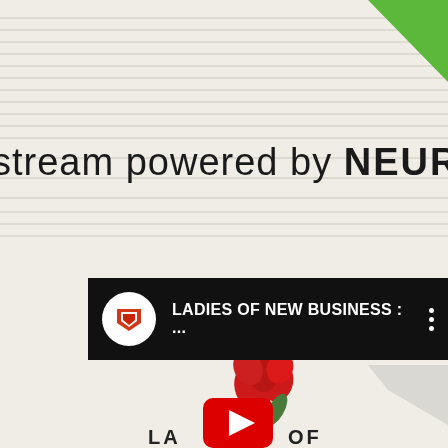[Figure (screenshot): Top section with cream/beige background and horizontal ruled lines, green triangle in top-right corner, and partial text 'stream powered by NEURAL' in large bold font]
[Figure (screenshot): YouTube-style video bar with channel icon (red angular logo on white circle), title 'LADIES OF NEW BUSINESS : ...' and three-dot menu on black background]
[Figure (screenshot): Video thumbnail preview area with cream background, grey arrow shapes on right, red flower/gladiolus image at bottom center, YouTube play button icon, and partial text 'LA  OF' at very bottom]